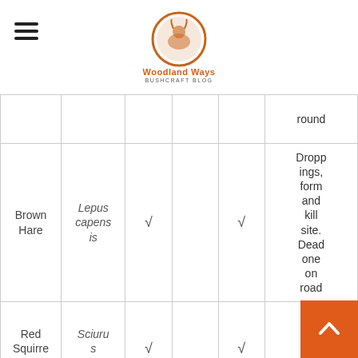Woodland Ways Bushcraft Blog
| Common Name | Latin Name | Seen |  | Tracked | Notes |
| --- | --- | --- | --- | --- | --- |
|  |  |  |  |  | round |
| Brown Hare | Lepus capensis | √ |  | √ | Droppings, form and kill site. Dead one on road |
| Red Squirrel | Sciurus vulgari | √ |  | √ | Sp e cone, |